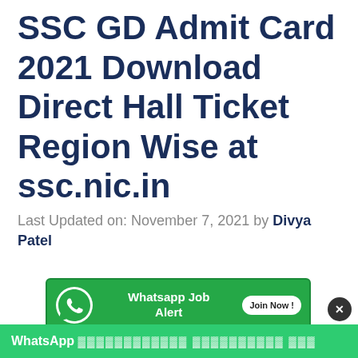SSC GD Admit Card 2021 Download Direct Hall Ticket Region Wise at ssc.nic.in
Last Updated on: November 7, 2021 by Divya Patel
[Figure (infographic): WhatsApp Job Alert banner in green with WhatsApp icon, text 'Whatsapp Job Alert' and a 'Join Now!' button]
[Figure (infographic): Telegram channel join banner in yellow/gold with Telegram icon and Gujarati text 'અમારી ટેલીગ્રામ ચેનલ જોઈન કરો']
WhatsApp [Gujarati text redacted]